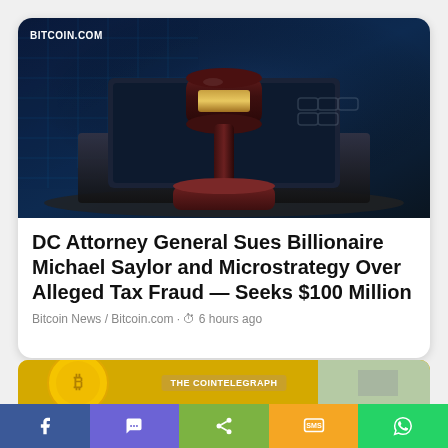[Figure (photo): A judge's gavel resting on a laptop keyboard with blockchain/crypto themed blue digital background. Source badge: BITCOIN.COM]
DC Attorney General Sues Billionaire Michael Saylor and Microstrategy Over Alleged Tax Fraud — Seeks $100 Million
Bitcoin News / Bitcoin.com · 6 hours ago
[Figure (photo): Partially visible second article image with yellow/gold coin and THE COINTELEGRAPH badge]
Share bar with Facebook, Messenger, Share, SMS, WhatsApp buttons